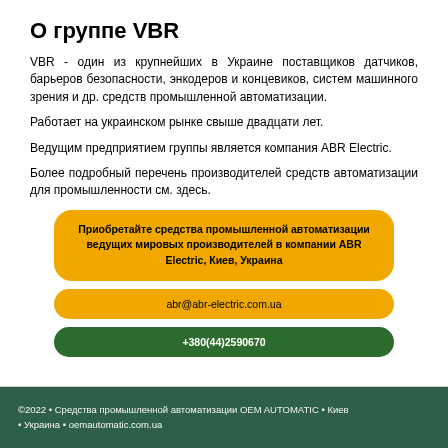О группе VBR
VBR - один из крупнейших в Украине поставщиков датчиков, барьеров безопасности, энкодеров и концевиков, систем машинного зрения и др. средств промышленной автоматизации.
Работает на украинском рынке свыше двадцати лет.
Ведущим предприятием группы является компания ABR Electric.
Более подробный перечень производителей средств автоматизации для промышленности см. здесь.
[Figure (infographic): Three buttons: a large yellow button with text about purchasing industrial automation products at ABR Electric, Kyiv, Ukraine; a smaller yellow button with email abr@abr-electric.com.ua; a green button with phone number +380(44)2590670]
©2022 • Средства промышленной автоматизации OEM AUTOMATIC • Киев • Украина • oemautomatic.com.ua